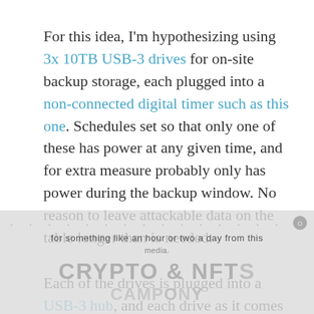For this idea, I'm hypothesizing using 3x 10TB USB-3 drives for on-site backup storage, each plugged into a non-connected digital timer such as this one. Schedules set so that only one of these has power at any given time, and for extra measure probably only has power during the backup window. No reason to leave attackable data on the table longer than is needed.
Each of the drives is plugged into a USB-3 hub, and each drive as it comes online will assume the same drive letter (say G.) It gets connected before the backup starts, and disconnected sometime after the backup ends. Drives only have power and an attack surface for maybe an hour or two a day